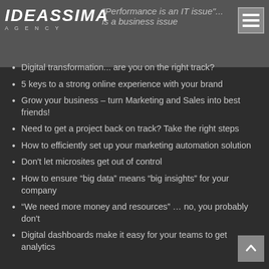"Performance is an IT issue" ... is a business issue
Digital transformation... are you on the right track?
5 keys to a strong online experience with your brand
Grow your business – turn Marketing and Sales into best friends!
Need to get a project back on track? Take the right steps
How to efficiently set up your marketing automation solution
Don't let microsites get out of control
How to ensure “big data” means “big insights” for your company
“We need more money and resources” ... no, you probably don't
Digital dashboards make it easy for your teams to get analytics